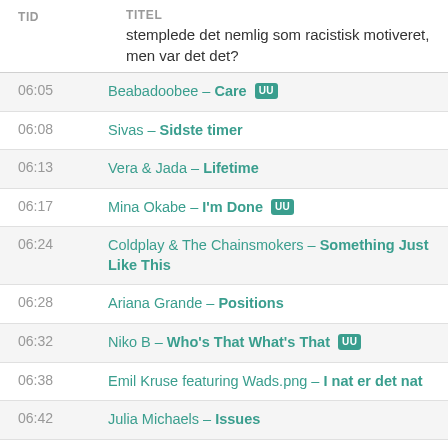| TID | TITEL |
| --- | --- |
|  | stemplede det nemlig som racistisk motiveret, men var det det? |
| 06:05 | Beabadoobee – Care [UU] |
| 06:08 | Sivas – Sidste timer |
| 06:13 | Vera & Jada – Lifetime |
| 06:17 | Mina Okabe – I'm Done [UU] |
| 06:24 | Coldplay & The Chainsmokers – Something Just Like This |
| 06:28 | Ariana Grande – Positions |
| 06:32 | Niko B – Who's That What's That [UU] |
| 06:38 | Emil Kruse featuring Wads.png – I nat er det nat |
| 06:42 | Julia Michaels – Issues |
| 06:46 | Statisk – Højhus [UU] |
| 06:54 | Justin Timberlake – Mirrors |
| 06:58 | Pind – Indlæg |
| 07:04 | KennyHoopla – How Will I Rest in Peace if I'm Buried by a Highway? [UU] |